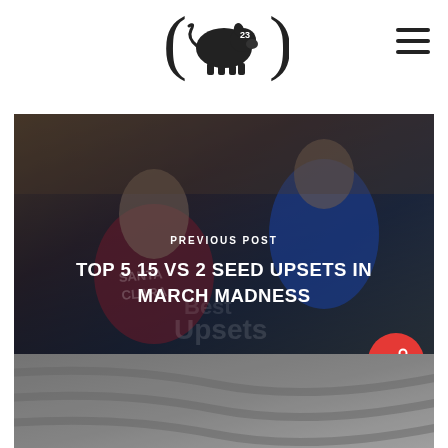[Figure (logo): Pig with the number 23 logo with parentheses on either side]
[Figure (photo): Basketball image showing players - Santa Clara jersey on left player, blue VCSU uniform on right player, crowd in background. Text overlay reads PREVIOUS POST and TOP 5 15 VS 2 SEED UPSETS IN MARCH MADNESS. Share button (red circle with share icon) at bottom right.]
[Figure (photo): Bottom strip showing partial view of another basketball-related image with grey/silver tones]